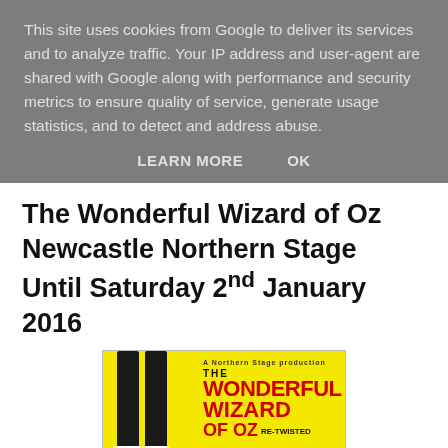This site uses cookies from Google to deliver its services and to analyze traffic. Your IP address and user-agent are shared with Google along with performance and security metrics to ensure quality of service, generate usage statistics, and to detect and address abuse.
LEARN MORE   OK
The Wonderful Wizard of Oz Newcastle Northern Stage Until Saturday 2nd January 2016
[Figure (illustration): Poster for The Wonderful Wizard of Oz at Northern Stage. Yellow background with striped legs in ruby slippers and white socks hanging down. Large red text reads THE WONDERFUL WIZARD OF OZ with RE-TWISTED in smaller text. Blue wave shape at bottom.]